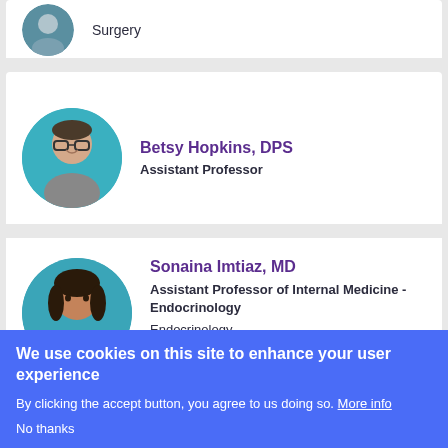[Figure (photo): Partial profile card at top showing cropped circular photo and 'Surgery' text]
Surgery
[Figure (photo): Circular headshot of Betsy Hopkins, a woman with short dark hair and glasses, smiling, against a teal background]
Betsy Hopkins, DPS
Assistant Professor
[Figure (photo): Circular headshot of Sonaina Imtiaz, a woman with dark hair, against a teal background]
Sonaina Imtiaz, MD
Assistant Professor of Internal Medicine - Endocrinology
Endocrinology
We use cookies on this site to enhance your user experience
By clicking the accept button, you agree to us doing so. More info
No thanks